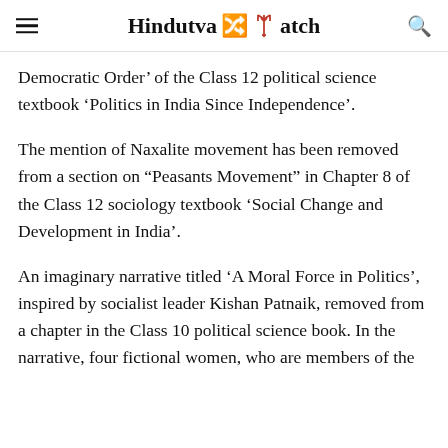Hindutva Watch
Democratic Order' of the Class 12 political science textbook 'Politics in India Since Independence'.
The mention of Naxalite movement has been removed from a section on “Peasants Movement” in Chapter 8 of the Class 12 sociology textbook ‘Social Change and Development in India’.
An imaginary narrative titled ‘A Moral Force in Politics’, inspired by socialist leader Kishan Patnaik, removed from a chapter in the Class 10 political science book. In the narrative, four fictional women, who are members of the